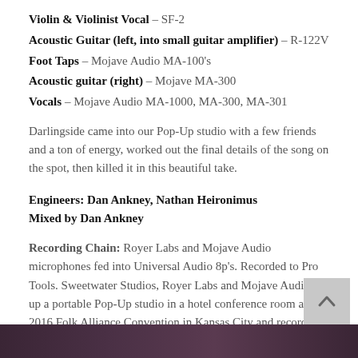Violin & Violinist Vocal – SF-2
Acoustic Guitar (left, into small guitar amplifier) – R-122V
Foot Taps – Mojave Audio MA-100's
Acoustic guitar (right) – Mojave MA-300
Vocals – Mojave Audio MA-1000, MA-300, MA-301
Darlingside came into our Pop-Up studio with a few friends and a ton of energy, worked out the final details of the song on the spot, then killed it in this beautiful take.
Engineers: Dan Ankney, Nathan Heironimus
Mixed by Dan Ankney
Recording Chain: Royer Labs and Mojave Audio microphones fed into Universal Audio 8p's. Recorded to Pro Tools. Sweetwater Studios, Royer Labs and Mojave Audio set up a portable Pop-Up studio in a hotel conference room at the 2016 Folk Alliance Convention in Kansas City and recorded a number of artists and groups attending.
Darlingside “Birds Say” (© Darlingside)
[Figure (photo): Bottom strip showing a dark-toned photo of musicians/performers at the recording session]